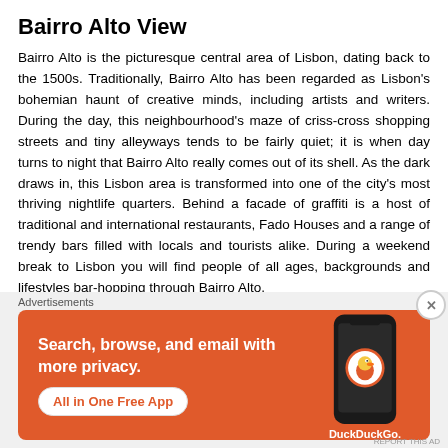Bairro Alto View
Bairro Alto is the picturesque central area of Lisbon, dating back to the 1500s. Traditionally, Bairro Alto has been regarded as Lisbon's bohemian haunt of creative minds, including artists and writers. During the day, this neighbourhood's maze of criss-cross shopping streets and tiny alleyways tends to be fairly quiet; it is when day turns to night that Bairro Alto really comes out of its shell. As the dark draws in, this Lisbon area is transformed into one of the city's most thriving nightlife quarters. Behind a facade of graffiti is a host of traditional and international restaurants, Fado Houses and a range of trendy bars filled with locals and tourists alike. During a weekend break to Lisbon you will find people of all ages, backgrounds and lifestyles bar-hopping through Bairro Alto.
Baixa is considered the main shopping and banking district in
Advertisements
[Figure (infographic): Orange DuckDuckGo advertisement banner showing a smartphone with DuckDuckGo logo. Text reads: Search, browse, and email with more privacy. All in One Free App]